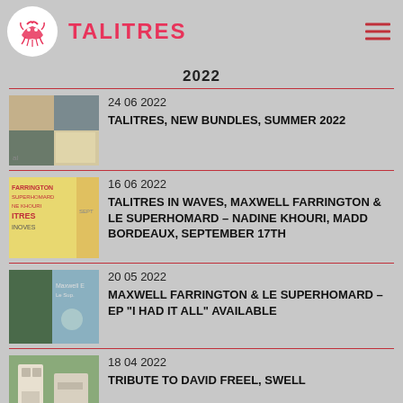TALITRES
2022
24 06 2022 — TALITRES, NEW BUNDLES, SUMMER 2022
16 06 2022 — TALITRES IN WAVES, MAXWELL FARRINGTON & LE SUPERHOMARD – NADINE KHOURI, MADD BORDEAUX, SEPTEMBER 17TH
20 05 2022 — MAXWELL FARRINGTON & LE SUPERHOMARD – EP "I HAD IT ALL" AVAILABLE
18 04 2022 — TRIBUTE TO DAVID FREEL, SWELL